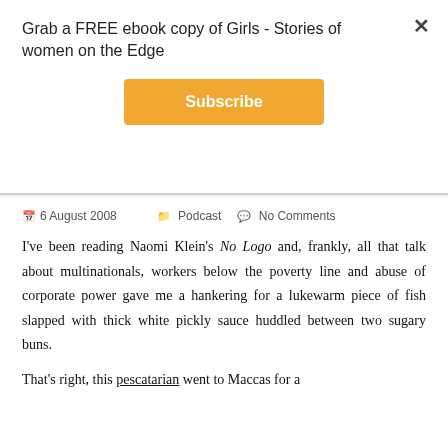Grab a FREE ebook copy of Girls - Stories of women on the Edge
Subscribe
6 August 2008   Podcast   No Comments
I've been reading Naomi Klein's No Logo and, frankly, all that talk about multinationals, workers below the poverty line and abuse of corporate power gave me a hankering for a lukewarm piece of fish slapped with thick white pickly sauce huddled between two sugary buns.
That's right, this pescatarian went to Maccas for a